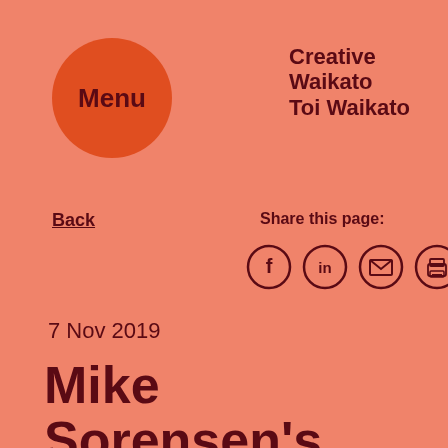[Figure (logo): Orange circle button with bold dark red 'Menu' text]
Creative Waikato Toi Waikato
Back
Share this page:
[Figure (infographic): Four social sharing icons: Facebook (f), LinkedIn (in), Email (envelope), Print (printer) — all in dark red circles]
7 Nov 2019
Mike Sorensen's journey into a career in dance